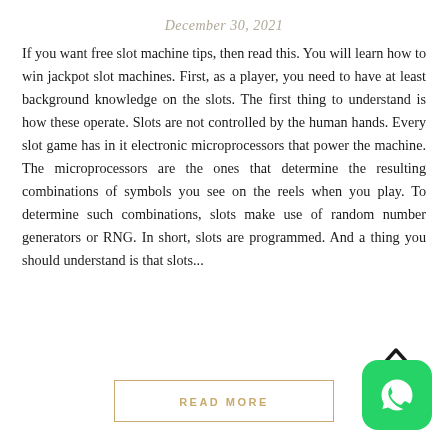December 30, 2021
If you want free slot machine tips, then read this. You will learn how to win jackpot slot machines. First, as a player, you need to have at least background knowledge on the slots. The first thing to understand is how these operate. Slots are not controlled by the human hands. Every slot game has in it electronic microprocessors that power the machine. The microprocessors are the ones that determine the resulting combinations of symbols you see on the reels when you play. To determine such combinations, slots make use of random number generators or RNG. In short, slots are programmed. And a thing you should understand is that slots...
[Figure (other): Upward chevron arrow icon]
READ MORE
[Figure (logo): WhatsApp icon - green rounded square with white phone/chat bubble logo]